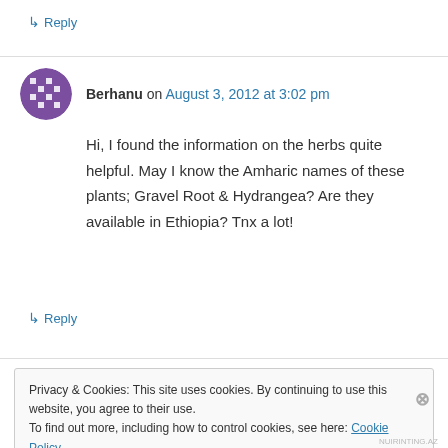↳ Reply
Berhanu on August 3, 2012 at 3:02 pm
Hi, I found the information on the herbs quite helpful. May I know the Amharic names of these plants; Gravel Root & Hydrangea? Are they available in Ethiopia? Tnx a lot!
↳ Reply
Privacy & Cookies: This site uses cookies. By continuing to use this website, you agree to their use.
To find out more, including how to control cookies, see here: Cookie Policy
Close and accept